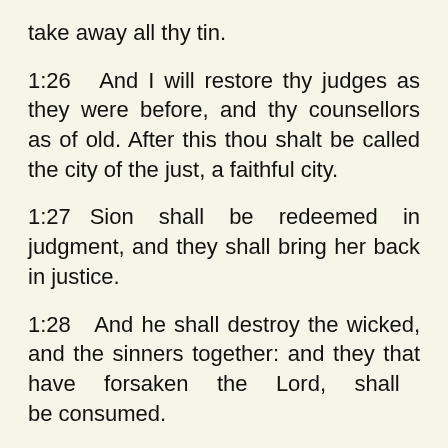take away all thy tin.
1:26   And I will restore thy judges as they were before, and thy counsellors as of old. After this thou shalt be called the city of the just, a faithful city.
1:27   Sion shall be redeemed in judgment, and they shall bring her back in justice.
1:28   And he shall destroy the wicked, and the sinners together: and they that have forsaken the Lord, shall be consumed.
1:29   For they shall be confounded for the idols, to which they have sacrificed: and